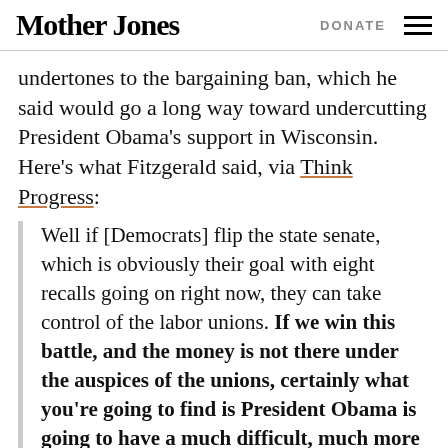Mother Jones | DONATE
undertones to the bargaining ban, which he said would go a long way toward undercutting President Obama’s support in Wisconsin. Here’s what Fitzgerald said, via Think Progress:
Well if [Democrats] flip the state senate, which is obviously their goal with eight recalls going on right now, they can take control of the labor unions. If we win this battle, and the money is not there under the auspices of the unions, certainly what you’re going to find is President Obama is going to have a much difficult, much more difficult time getting elected and winning the state of Wisconsin